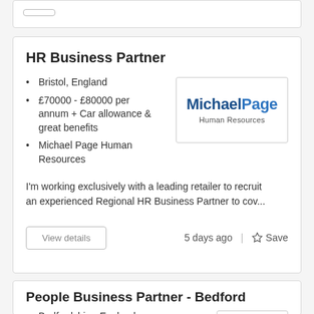HR Business Partner
Bristol, England
£70000 - £80000 per annum + Car allowance & great benefits
Michael Page Human Resources
I'm working exclusively with a leading retailer to recruit an experienced Regional HR Business Partner to cov...
5 days ago
People Business Partner - Bedford
Bedfordshire, England